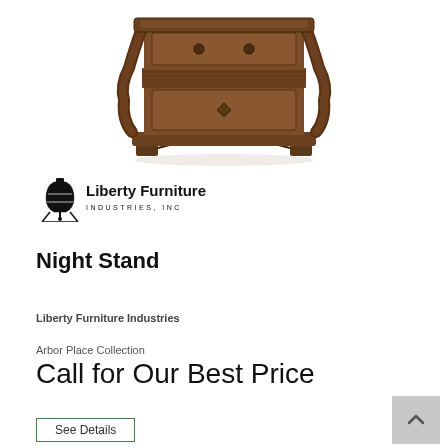[Figure (photo): Ornate dark wood night stand with carved legs, two drawers, and decorative hardware, photographed on white background]
[Figure (logo): Liberty Furniture Industries, Inc. logo with Liberty Bell icon and bold text]
Night Stand
Liberty Furniture Industries
Arbor Place Collection
Call for Our Best Price
See Details